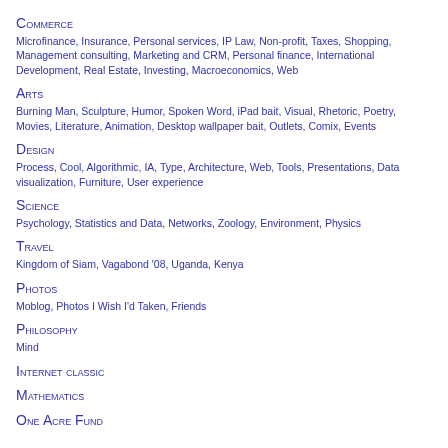Commerce
Microfinance, Insurance, Personal services, IP Law, Non-profit, Taxes, Shopping, Management consulting, Marketing and CRM, Personal finance, International Development, Real Estate, Investing, Macroeconomics, Web
Arts
Burning Man, Sculpture, Humor, Spoken Word, iPad bait, Visual, Rhetoric, Poetry, Movies, Literature, Animation, Desktop wallpaper bait, Outlets, Comix, Events
Design
Process, Cool, Algorithmic, IA, Type, Architecture, Web, Tools, Presentations, Data visualization, Furniture, User experience
Science
Psychology, Statistics and Data, Networks, Zoology, Environment, Physics
Travel
Kingdom of Siam, Vagabond '08, Uganda, Kenya
Photos
Moblog, Photos I Wish I'd Taken, Friends
Philosophy
Mind
Internet classic
Mathematics
One Acre Fund